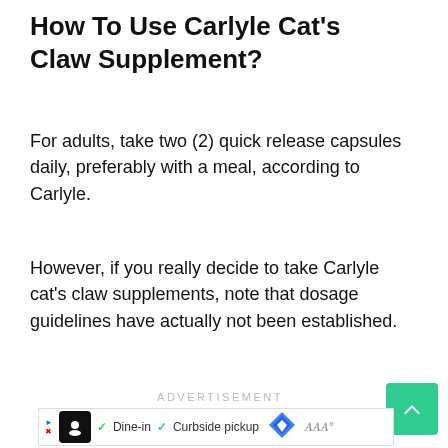How To Use Carlyle Cat’s Claw Supplement?
For adults, take two (2) quick release capsules daily, preferably with a meal, according to Carlyle.
However, if you really decide to take Carlyle cat’s claw supplements, note that dosage guidelines have actually not been established.
ADVERTISEMENT
[Figure (other): Advertisement banner showing a restaurant with Dine-in and Curbside pickup options]